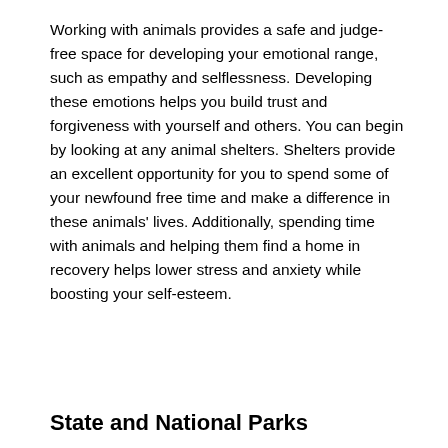Working with animals provides a safe and judge-free space for developing your emotional range, such as empathy and selflessness. Developing these emotions helps you build trust and forgiveness with yourself and others. You can begin by looking at any animal shelters. Shelters provide an excellent opportunity for you to spend some of your newfound free time and make a difference in these animals' lives. Additionally, spending time with animals and helping them find a home in recovery helps lower stress and anxiety while boosting your self-esteem.
State and National Parks